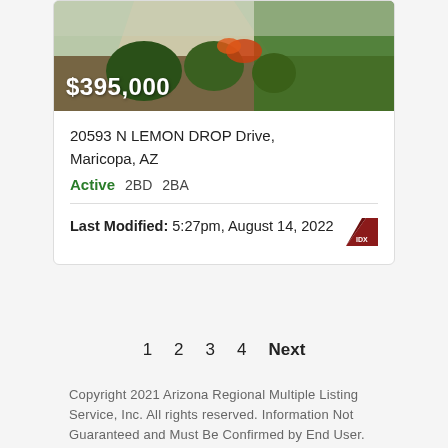[Figure (photo): Exterior landscape photo of property showing green shrubs, lawn, and garden beds with orange-flowering plants]
$395,000
20593 N LEMON DROP Drive, Maricopa, AZ
Active  2BD  2BA
Last Modified: 5:27pm, August 14, 2022
1  2  3  4  Next
Copyright 2021 Arizona Regional Multiple Listing Service, Inc. All rights reserved. Information Not Guaranteed and Must Be Confirmed by End User. Site contains live data.